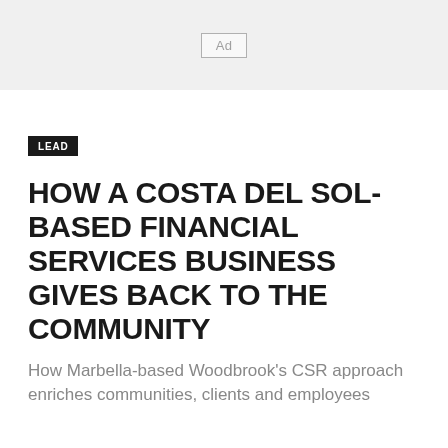[Figure (other): Ad banner placeholder with 'Ad' label in a bordered box on a light grey background]
LEAD
HOW A COSTA DEL SOL-BASED FINANCIAL SERVICES BUSINESS GIVES BACK TO THE COMMUNITY
How Marbella-based Woodbrook's CSR approach enriches communities, clients and employees